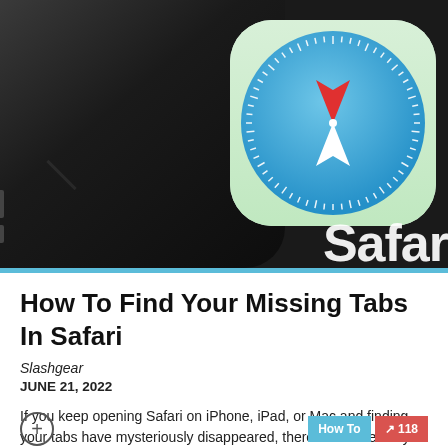[Figure (photo): Close-up photo of a smartphone showing the Safari browser app icon on a dark background. The Safari compass icon (blue circle with white and red compass needle) is prominently visible. The word 'Safari' appears in white text at the bottom right of the image.]
How To Find Your Missing Tabs In Safari
Slashgear
JUNE 21, 2022
If you keep opening Safari on iPhone, iPad, or Mac and finding your tabs have mysteriously disappeared, there are some easy fixes to this browsing headache. Technology